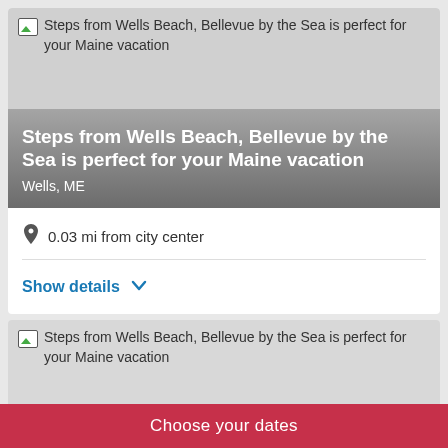[Figure (photo): Broken image placeholder for 'Steps from Wells Beach, Bellevue by the Sea is perfect for your Maine vacation' with overlay title and location Wells, ME]
0.03 mi from city center
Show details
[Figure (photo): Second broken image placeholder for 'Steps from Wells Beach, Bellevue by the Sea is perfect for your Maine vacation']
Choose your dates